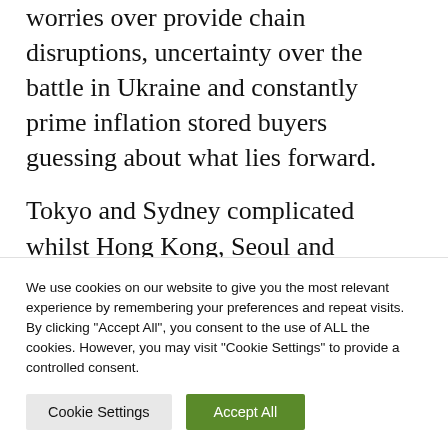worries over provide chain disruptions, uncertainty over the battle in Ukraine and constantly prime inflation stored buyers guessing about what lies forward.
Tokyo and Sydney complicated whilst Hong Kong, Seoul and Shanghai declined. The USA futures have been upper.
With the Federal Reserve because of hang a
We use cookies on our website to give you the most relevant experience by remembering your preferences and repeat visits. By clicking "Accept All", you consent to the use of ALL the cookies. However, you may visit "Cookie Settings" to provide a controlled consent.